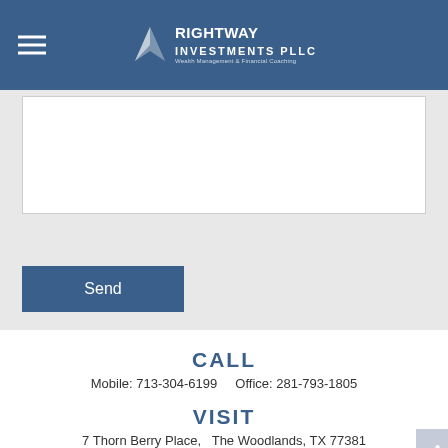RightWay Investments PLLC — Wealth Management & Financial Coaching
[Figure (screenshot): White textarea input box for message form]
Send
CALL
Mobile: 713-304-6199    Office: 281-793-1805
VISIT
7 Thorn Berry Place,  The Woodlands, TX 77381
CONNECT